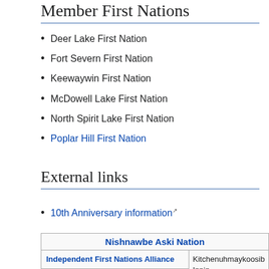Member First Nations
Deer Lake First Nation
Fort Severn First Nation
Keewaywin First Nation
McDowell Lake First Nation
North Spirit Lake First Nation
Poplar Hill First Nation
External links
10th Anniversary information
| Nishnawbe Aski Nation |
| --- |
| Independent First Nations Alliance | Kitchenuhmaykoosib Innin
Lac Seul · Muskrat Dam · ...
Whitesand · |
| Keewaytinook Okimakanak Council | Deer Lake · Fort Severn · ...
McDowell Lake · North Spi...
Poplar Hill · |
|  | Aroland · Constance Lake ... |